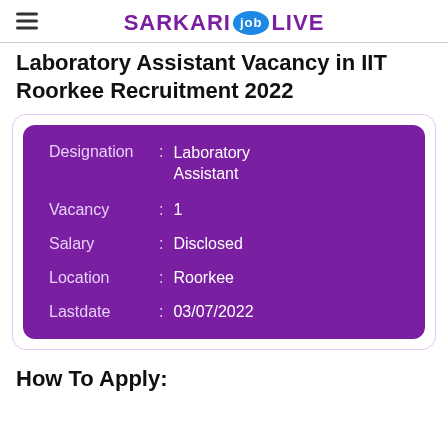SARKARI job LIVE
Laboratory Assistant Vacancy in IIT Roorkee Recruitment 2022
| Field | Value |
| --- | --- |
| Designation | Laboratory Assistant |
| Vacancy | 1 |
| Salary | Disclosed |
| Location | Roorkee |
| Lastdate | 03/07/2022 |
How To Apply: